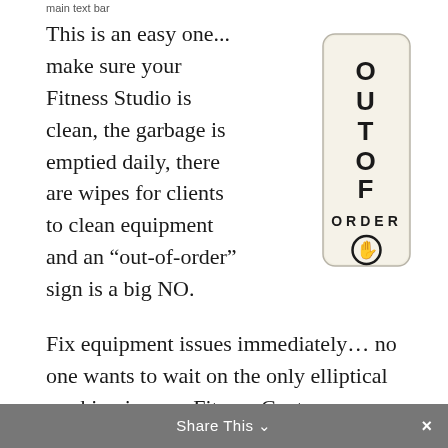main text bar
This is an easy one... make sure your Fitness Studio is clean, the garbage is emptied daily, there are wipes for clients to clean equipment and an “out-of-order” sign is a big NO.
[Figure (photo): An 'Out of Order' sign with bold vertical text reading OUT OF ORDER and a stop-hand symbol at the bottom, on a light background with rounded rectangle shape.]
Fix equipment issues immediately… no one wants to wait on the only elliptical working in your Fitness Center.
Share This ⌄  ×